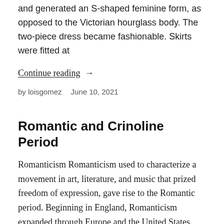and generated an S-shaped feminine form, as opposed to the Victorian hourglass body. The two-piece dress became fashionable. Skirts were fitted at
Continue reading →
by loisgomez   June 10, 2021
Romantic and Crinoline Period
Romanticism Romanticism used to characterize a movement in art, literature, and music that prized freedom of expression, gave rise to the Romantic period. Beginning in England, Romanticism expanded through Europe and the United States. Romanticism was a reaction against the classical principles that governed creative effort at the time. Romantic